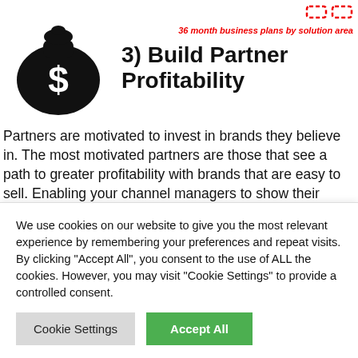36 month business plans by solution area
[Figure (illustration): Black money bag icon with a white dollar sign on it]
3) Build Partner Profitability
Partners are motivated to invest in brands they believe in. The most motivated partners are those that see a path to greater profitability with brands that are easy to sell. Enabling your channel managers to show their partners
We use cookies on our website to give you the most relevant experience by remembering your preferences and repeat visits. By clicking "Accept All", you consent to the use of ALL the cookies. However, you may visit "Cookie Settings" to provide a controlled consent.